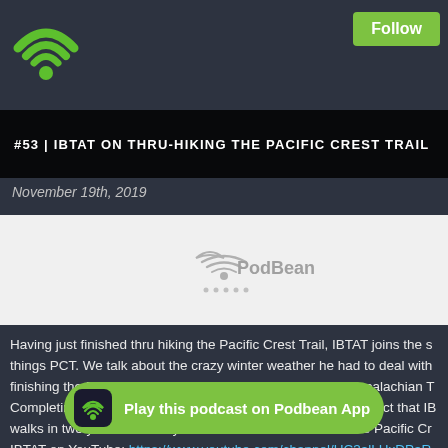[Figure (logo): Green WiFi/Podbean logo in top left corner]
Follow
#53 | IBTAT ON THRU-HIKING THE PACIFIC CREST TRAIL
November 19th, 2019
[Figure (logo): PodBean audio player embed area with PodBean watermark logo]
Having just finished thru hiking the Pacific Crest Trail, IBTAT joins the s things PCT. We talk about the crazy winter weather he had to deal with finishing the Pacific Crest Trail compared to finishing the Appalachian T Completing back-to-back thru hikes is an incredible feat; the fact that IB walks in two years blows my mind. Tune in to hear about the Pacific Cr IBTAT on YouTube: https://www.youtube.com/channel/UC3alLHxDPaR IBTAT on In mins/ Check out c/kylehates While you're at it. Check out the above website at
[Figure (logo): Green Play this podcast on Podbean App banner button at bottom]